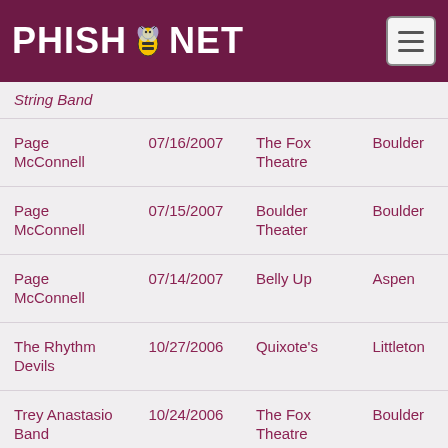PHISH.NET
| Artist | Date | Venue | City |
| --- | --- | --- | --- |
| String Band |  |  |  |
| Page McConnell | 07/16/2007 | The Fox Theatre | Boulder |
| Page McConnell | 07/15/2007 | Boulder Theater | Boulder |
| Page McConnell | 07/14/2007 | Belly Up | Aspen |
| The Rhythm Devils | 10/27/2006 | Quixote's | Littleton |
| Trey Anastasio Band | 10/24/2006 | The Fox Theatre | Boulder |
| Trey Anastasio Band | 10/23/2006 | The Fox Theatre | Boulder |
| Trey Anastasio | 10/22/2006 | Twist & Shout | Denver |